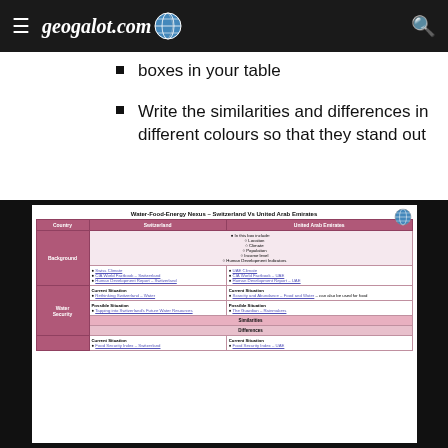geogalot.com
boxes in your table
Write the similarities and differences in different colours so that they stand out
[Figure (table-as-image): Water-Food-Energy Nexus comparison table: Switzerland vs United Arab Emirates, showing Background, Water Security sections with Current Situation, Possible Situation, Similarities, and Differences rows with links to resources.]